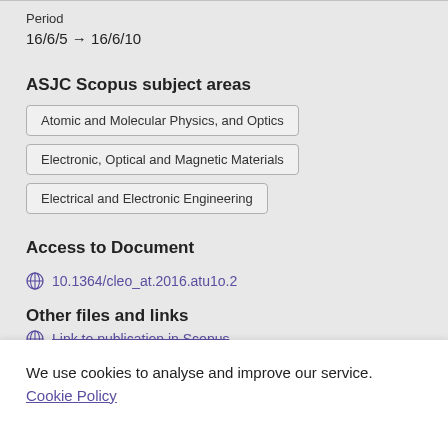Period
16/6/5 → 16/6/10
ASJC Scopus subject areas
Atomic and Molecular Physics, and Optics
Electronic, Optical and Magnetic Materials
Electrical and Electronic Engineering
Access to Document
10.1364/cleo_at.2016.atu1o.2
Other files and links
Link to publication in Scopus
We use cookies to analyse and improve our service. Cookie Policy